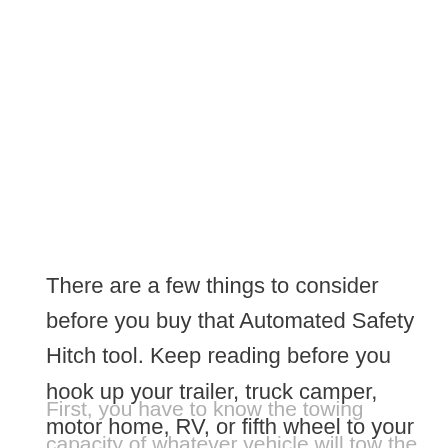There are a few things to consider before you buy that Automated Safety Hitch tool. Keep reading before you hook up your trailer, truck camper, motor home, RV, or fifth wheel to your van, SUV, or truck tow hitch.
First, you have to know the towing capacity of whatever vehicle will tow the trailer. Different trucks